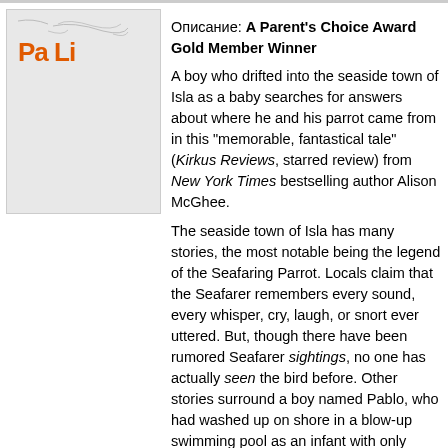[Figure (illustration): Book cover thumbnail with orange 'Pa Li' logo on gray background]
Автор: McGhee, Alison
Название: Pablo and Birdy
ISBN: 1508231702 ISBN-13(EAN): 9781508231707
Издательство: Simon & Schuster
Цена: 1935 р.
Наличие на складе: Поставка под заказ.
Описание: A Parent's Choice Award Gold Member Winner
A boy who drifted into the seaside town of Isla as a baby searches for answers about where he and his parrot came from in this "memorable, fantastical tale" (Kirkus Reviews, starred review) from New York Times bestselling author Alison McGhee.
The seaside town of Isla has many stories, the most notable being the legend of the Seafaring Parrot. Locals claim that the Seafarer remembers every sound, every whisper, cry, laugh, or snort ever uttered. But, though there have been rumored Seafarer sightings, no one has actually seen the bird before. Other stories surround a boy named Pablo, who had washed up on shore in a blow-up swimming pool as an infant with only...